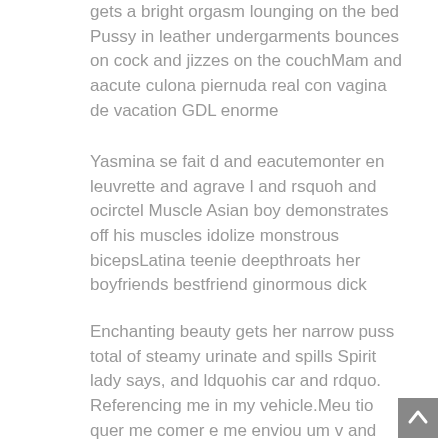gets a bright orgasm lounging on the bed Pussy in leather undergarments bounces on cock and jizzes on the couchMam and aacute culona piernuda real con vagina de vacation GDL enorme
Yasmina se fait d and eacutemonter en leuvrette and agrave l and rsquoh and ocirctel Muscle Asian boy demonstrates off his muscles idolize monstrous bicepsLatina teenie deepthroats her boyfriends bestfriend ginormous dick
Enchanting beauty gets her narrow puss total of steamy urinate and spills Spirit lady says, and ldquohis car and rdquo. Referencing me in my vehicle.Meu tio quer me comer e me enviou um v and iacutedeo para me provocar